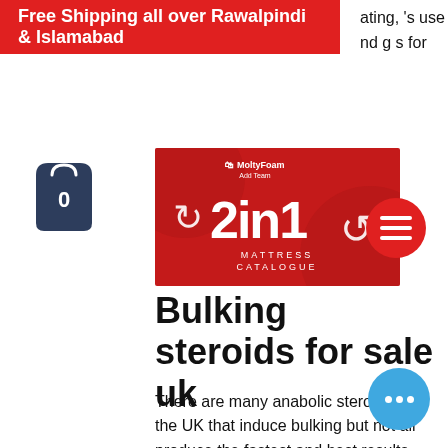Free Shipping all over Rawalpindi & Islamabad
[Figure (logo): MoltyFoam 2in1 Mattress Catalogue logo on red background]
Bulking steroids for sale uk
There are many anabolic steroids in the UK that induce bulking but not all produce the fastest and best results. What is one to do to ensure best results? It is the job of many bodybuilders and trainers to find supplements and methods for muscle growth, bodybuilding, body composition and muscle mass, steroids sale uk bulking for. They must know what wo... which supplements are safe and whi... are not. In this article, I will give you an